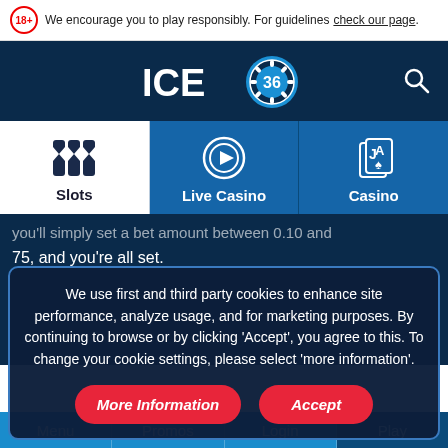We encourage you to play responsibly. For guidelines check our page.
[Figure (logo): ICE36 casino logo with poker chip badge showing number 36]
[Figure (infographic): Navigation menu tabs: Slots (slot machine icon), Live Casino (poker chip with play button), Casino (playing cards J and A)]
75, and you're all set.
We use first and third party cookies to enhance site performance, analyze usage, and for marketing purposes. By continuing to browse or by clicking 'Accept', you agree to this. To change your cookie settings, please select 'more information'.
Menu | Promos | Login | Play